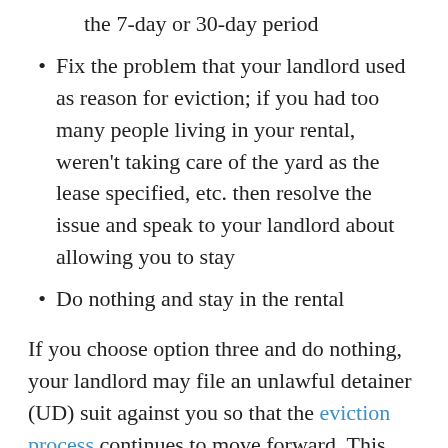the 7-day or 30-day period
Fix the problem that your landlord used as reason for eviction; if you had too many people living in your rental, weren't taking care of the yard as the lease specified, etc. then resolve the issue and speak to your landlord about allowing you to stay
Do nothing and stay in the rental
If you choose option three and do nothing, your landlord may file an unlawful detainer (UD) suit against you so that the eviction process continues to move forward. This will require you to appear at a hearing on a specific date to go over the details of your eviction, and